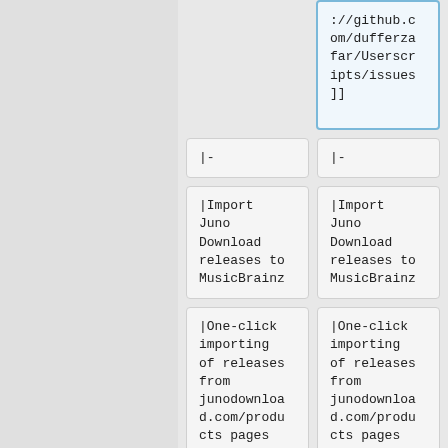://github.com/dufferzafar/Userscripts/issues]]
|-
|-
|Import Juno Download releases to MusicBrainz
|Import Juno Download releases to MusicBrainz
|One-click importing of releases from junodownload.com/products pages into MusicBrainz
|One-click importing of releases from junodownload.com/products pages into MusicBrainz